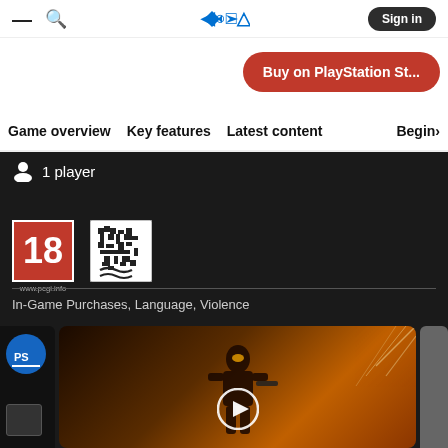— 🔍 [PlayStation Logo] Sign in
Buy on PlayStation St...
Game overview   Key features   Latest content   Begin›
1 player
[Figure (logo): PEGI 18 rating badge with www.pegi.info text]
[Figure (illustration): PEGI content descriptor icon for In-Game Purchases (pixelated hands with money)]
In-Game Purchases, Language, Violence
[Figure (screenshot): PlayStation Store game listing thumbnail showing a character in fiery orange environment with a play button overlay, and a PS4/PS5 box art partially visible on the left and right]